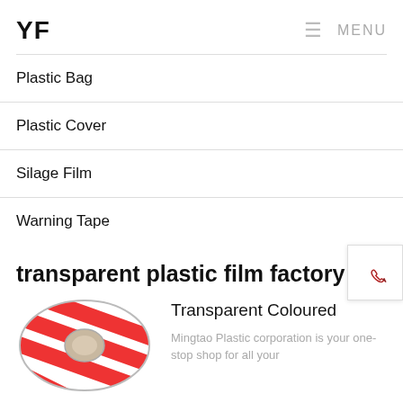YF  ☰ MENU
Plastic Bag
Plastic Cover
Silage Film
Warning Tape
transparent plastic film factory
[Figure (photo): A roll of red and white striped warning tape]
Transparent Coloured
Mingtao Plastic corporation is your one-stop shop for all your